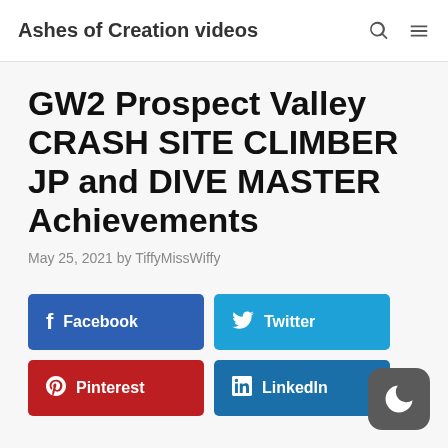Ashes of Creation videos
GW2 Prospect Valley CRASH SITE CLIMBER JP and DIVE MASTER Achievements
May 25, 2021 by TiffyMissWiffy
[Figure (infographic): Social sharing buttons: Facebook, Twitter, Pinterest, LinkedIn]